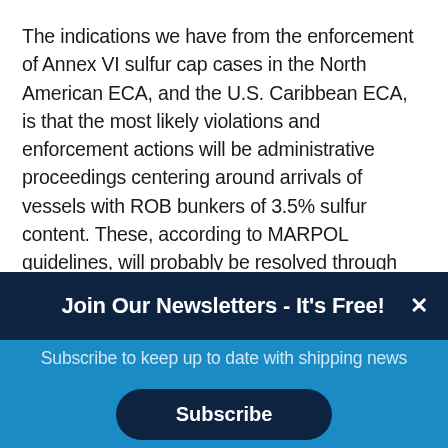The indications we have from the enforcement of Annex VI sulfur cap cases in the North American ECA, and the U.S. Caribbean ECA, is that the most likely violations and enforcement actions will be administrative proceedings centering around arrivals of vessels with ROB bunkers of 3.5% sulfur content. These, according to MARPOL guidelines, will probably be resolved through measures dealing with the management of such bunkers – ranging from blending of the ROBs, to being required to discharge
Join Our Newsletters - It's Free!
Subscribe to keep up to date with shipping news
Subscribe